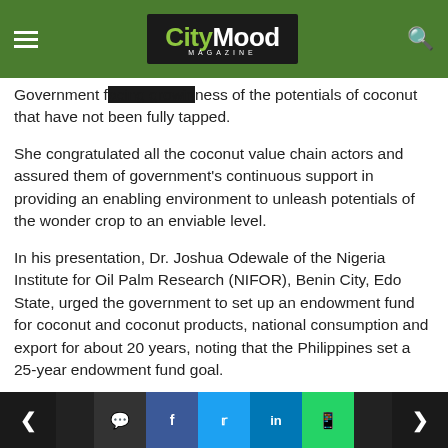CityMood Magazine
Government f... g ...ness of the potentials of coconut that have not been fully tapped.
She congratulated all the coconut value chain actors and assured them of government's continuous support in providing an enabling environment to unleash potentials of the wonder crop to an enviable level.
In his presentation, Dr. Joshua Odewale of the Nigeria Institute for Oil Palm Research (NIFOR), Benin City, Edo State, urged the government to set up an endowment fund for coconut and coconut products, national consumption and export for about 20 years, noting that the Philippines set a 25-year endowment fund goal.
Navigation bar with social share buttons